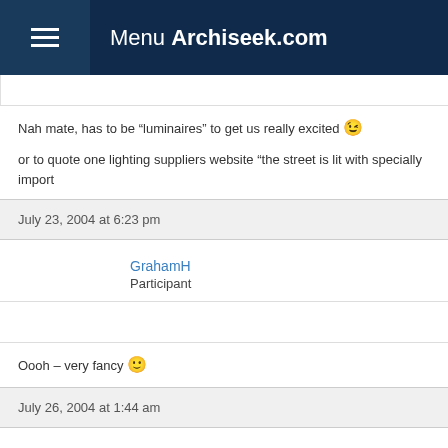Menu Archiseek.com
Nah mate, has to be “luminaires” to get us really excited 😉
or to quote one lighting suppliers website “the street is lit with specially import
July 23, 2004 at 6:23 pm
GrahamH
Participant
Oooh – very fancy 🙂
July 26, 2004 at 1:44 am
Devin
Participant